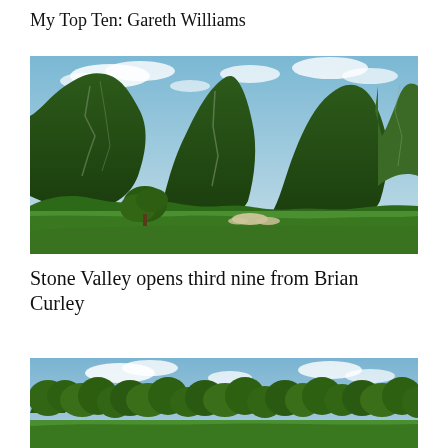My Top Ten: Gareth Williams
[Figure (photo): Golf course fairway surrounded by dramatic karst limestone mountains covered in dense green jungle vegetation, with a large tree in the foreground and sand bunkers near the green in the background under a partly cloudy blue sky.]
Stone Valley opens third nine from Brian Curley
[Figure (photo): Golf course with a line of tall deciduous trees along the background under a blue sky with white clouds, the foreground showing green fairway grass — partially cropped at bottom of page.]